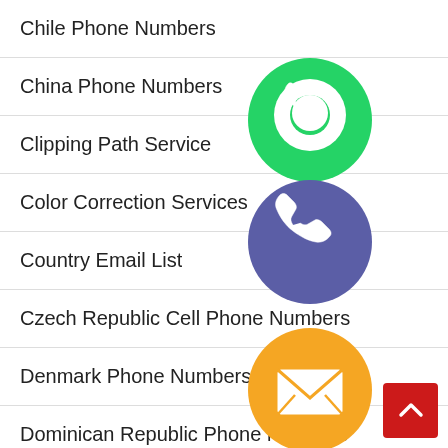Chile Phone Numbers
China Phone Numbers
Clipping Path Service
Color Correction Services
Country Email List
Czech Republic Cell Phone Numbers
Denmark Phone Numbers
Dominican Republic Phone Numbers
E-Commerce Photo Editing
[Figure (infographic): Overlapping social media and communication icons (WhatsApp, phone/Viber, email, LINE, Viber, close button) arranged vertically in the center-right area of the page]